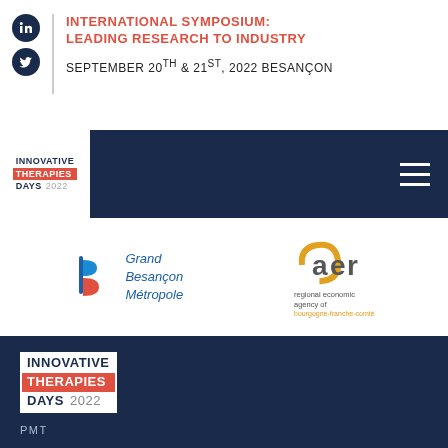[Figure (logo): LinkedIn and Twitter social icons (dark navy circles), vertical separator line, then header text: INTERNATIONAL SYMPOSIUM: LEADING RESEARCH TO INDUSTRY in red, and SEPTEMBER 20TH & 21ST, 2022 BESANÇON in dark text]
[Figure (logo): Navigation bar with Innovative Therapies Days 2022 logo on white background, navy bar, hamburger menu icon on right]
[Figure (logo): Grand Besançon Métropole logo with blue b letter mark and italic text]
[Figure (logo): aer regional economic agency of bourgogne-franche-comté logo in yellow and grey]
[Figure (logo): Footer with dark navy background, Innovative Therapies Days 2022 large logo, and PMT text at bottom left]